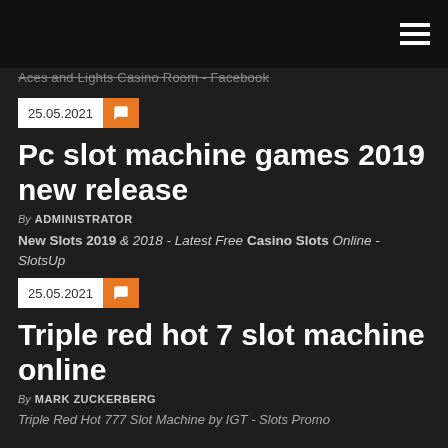Aces and Lights Casino Room - Facebook
25.05.2021
Pc slot machine games 2019 new release
By ADMINISTRATOR
New Slots 2019 & 2018 - Latest Free Casino Slots Online - SlotsUp
25.05.2021
Triple red hot 7 slot machine online
By MARK ZUCKERBERG
Triple Red Hot 777 Slot Machine by IGT - Slots Promo